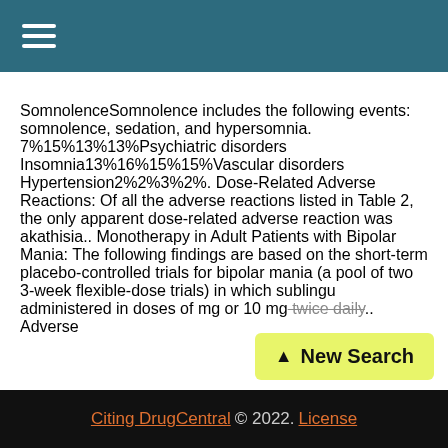≡ (menu icon)
SomnolenceSomnolence includes the following events: somnolence, sedation, and hypersomnia. 7%15%13%13%Psychiatric disorders Insomnia13%16%15%15%Vascular disorders Hypertension2%2%3%2%. Dose-Related Adverse Reactions: Of all the adverse reactions listed in Table 2, the only apparent dose-related adverse reaction was akathisia.. Monotherapy in Adult Patients with Bipolar Mania: The following findings are based on the short-term placebo-controlled trials for bipolar mania (a pool of two 3-week flexible-dose trials) in which sublingu... administered in doses of mg or 10 mg twice daily.. Adverse
[Figure (other): Yellow 'New Search' button with upward arrow icon]
Citing DrugCentral © 2022. License